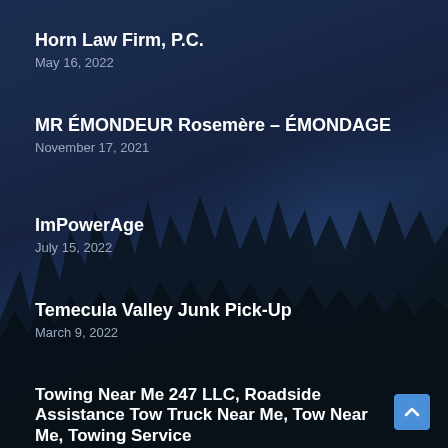Horn Law Firm, P.C.
May 16, 2022
MR ÉMONDEUR Rosemère – ÉMONDAGE
November 17, 2021
ImPowerAge
July 15, 2022
Temecula Valley Junk Pick-Up
March 9, 2022
Towing Near Me 247 LLC, Roadside Assistance Tow Truck Near Me, Tow Near Me, Towing Service